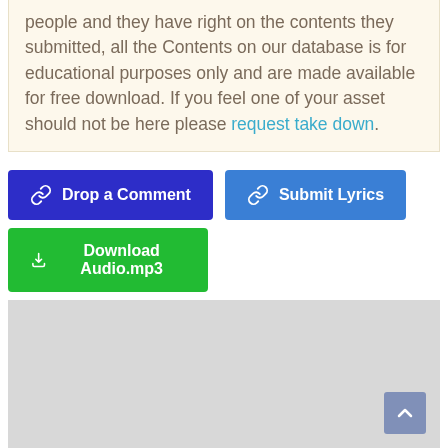people and they have right on the contents they submitted, all the Contents on our database is for educational purposes only and are made available for free download. If you feel one of your asset should not be here please request take down.
Drop a Comment
Submit Lyrics
Download Audio.mp3
[Figure (other): Gray advertisement/placeholder area with a scroll-to-top button in the bottom right corner]